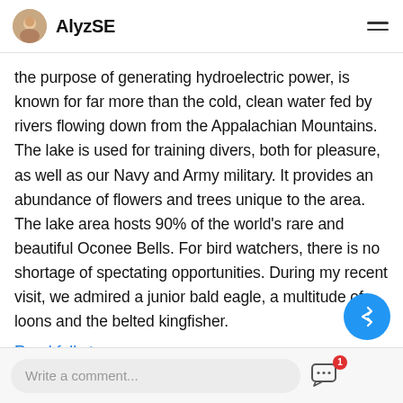AlyzSE
the purpose of generating hydroelectric power, is known for far more than the cold, clean water fed by rivers flowing down from the Appalachian Mountains. The lake is used for training divers, both for pleasure, as well as our Navy and Army military. It provides an abundance of flowers and trees unique to the area. The lake area hosts 90% of the world's rare and beautiful Oconee Bells. For bird watchers, there is no shortage of spectating opportunities. During my recent visit, we admired a junior bald eagle, a multitude of loons and the belted kingfisher.
Read full story >
Write a comment...